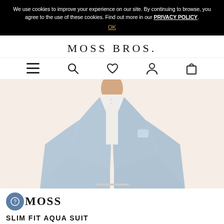We use cookies to improve your experience on our site. By continuing to browse, you agree to the use of these cookies. Find out more in our PRIVACY POLICY. OK
MOSS BROS.
[Figure (screenshot): Navigation bar with hamburger menu, search, heart/wishlist, account, and bag icons]
[Figure (photo): Man wearing a slim fit light blue/aqua suit jacket with white shirt and pocket square, on a warm beige background]
MOSS
SLIM FIT AQUA SUIT